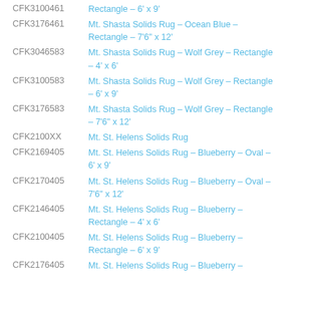CFK3100461 — Rectangle – 6' x 9'
CFK3176461 — Mt. Shasta Solids Rug – Ocean Blue – Rectangle – 7'6" x 12'
CFK3046583 — Mt. Shasta Solids Rug – Wolf Grey – Rectangle – 4' x 6'
CFK3100583 — Mt. Shasta Solids Rug – Wolf Grey – Rectangle – 6' x 9'
CFK3176583 — Mt. Shasta Solids Rug – Wolf Grey – Rectangle – 7'6" x 12'
CFK2100XX — Mt. St. Helens Solids Rug
CFK2169405 — Mt. St. Helens Solids Rug – Blueberry – Oval – 6' x 9'
CFK2170405 — Mt. St. Helens Solids Rug – Blueberry – Oval – 7'6" x 12'
CFK2146405 — Mt. St. Helens Solids Rug – Blueberry – Rectangle – 4' x 6'
CFK2100405 — Mt. St. Helens Solids Rug – Blueberry – Rectangle – 6' x 9'
CFK2176405 — Mt. St. Helens Solids Rug – Blueberry –